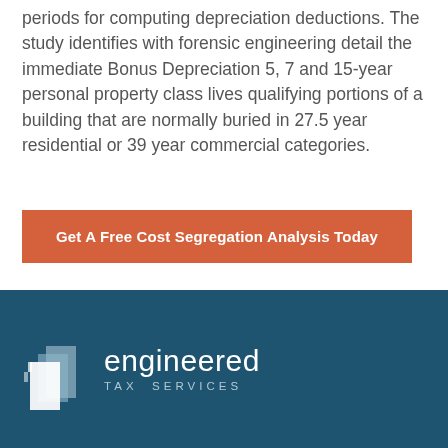periods for computing depreciation deductions. The study identifies with forensic engineering detail the immediate Bonus Depreciation 5, 7 and 15-year personal property class lives qualifying portions of a building that are normally buried in 27.5 year residential or 39 year commercial categories.
Get A Free Cost Segregation Analysis Today
[Figure (logo): Engineered Tax Services logo — white stacked-pages icon on left, 'engineered' in large white text with 'TAX SERVICES' in smaller spaced uppercase below, on a dark teal (#1e5470) background.]